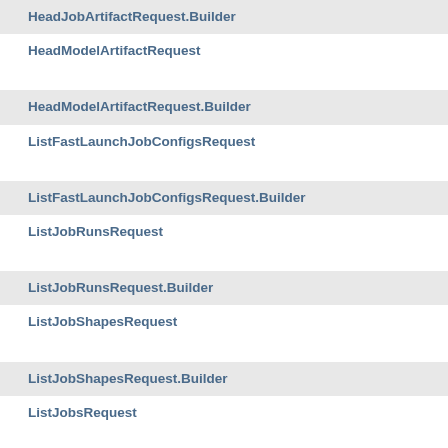HeadJobArtifactRequest.Builder
HeadModelArtifactRequest
HeadModelArtifactRequest.Builder
ListFastLaunchJobConfigsRequest
ListFastLaunchJobConfigsRequest.Builder
ListJobRunsRequest
ListJobRunsRequest.Builder
ListJobShapesRequest
ListJobShapesRequest.Builder
ListJobsRequest
ListJobsRequest.Builder